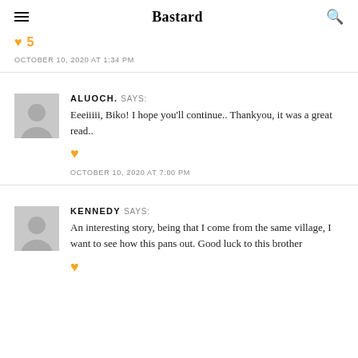Bastard
♥ 5
OCTOBER 10, 2020 AT 1:34 PM
ALUOCH. SAYS:
Eeeiii, Biko! I hope you'll continue.. Thankyou, it was a great read..
♥
OCTOBER 10, 2020 AT 7:00 PM
KENNEDY SAYS:
An interesting story, being that I come from the same village, I want to see how this pans out. Good luck to this brother
♥